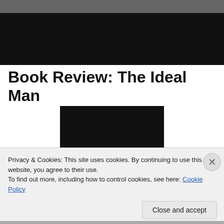[Figure (photo): Dark/black banner image at the top of the page, appears to be a photo with dark background and slight gray texture at top]
Book Review: The Ideal Man
[Figure (photo): Book cover image centered on the page, mostly black/dark with gray texture at the bottom]
Privacy & Cookies: This site uses cookies. By continuing to use this website, you agree to their use.
To find out more, including how to control cookies, see here: Cookie Policy
Close and accept